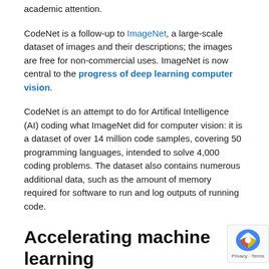academic attention.
CodeNet is a follow-up to ImageNet, a large-scale dataset of images and their descriptions; the images are free for non-commercial uses. ImageNet is now central to the progress of deep learning computer vision.
CodeNet is an attempt to do for Artifical Intelligence (AI) coding what ImageNet did for computer vision: it is a dataset of over 14 million code samples, covering 50 programming languages, intended to solve 4,000 coding problems. The dataset also contains numerous additional data, such as the amount of memory required for software to run and log outputs of running code.
Accelerating machine learning
IBM's own stated rationale for CodeNet is that it is designed to swiftly update legacy systems programmed in outdated code, a development long-awaited since the Y2K panic over